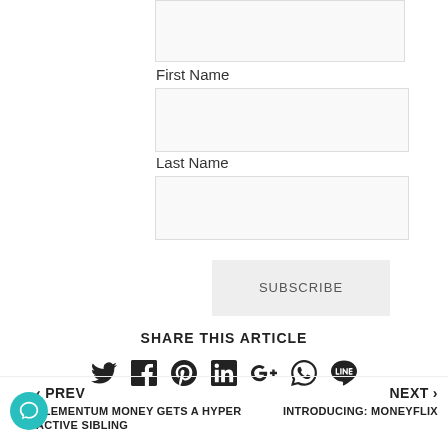First Name
Last Name
SUBSCRIBE
SHARE THIS ARTICLE
[Figure (infographic): Social share icons: Twitter, Facebook, Pinterest, LinkedIn, Google+, WhatsApp, Line]
< PREV
ELEMENTUM MONEY GETS A HYPER ACTIVE SIBLING
NEXT >
INTRODUCING: MONEYFLIX